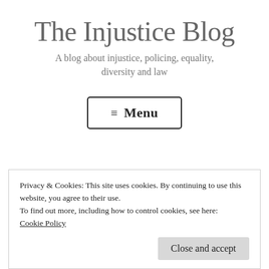The Injustice Blog
A blog about injustice, policing, equality, diversity and law
[Figure (other): Menu button with hamburger icon and text 'Menu' inside a rounded rectangle border]
Privacy & Cookies: This site uses cookies. By continuing to use this website, you agree to their use.
To find out more, including how to control cookies, see here:
Cookie Policy
Close and accept